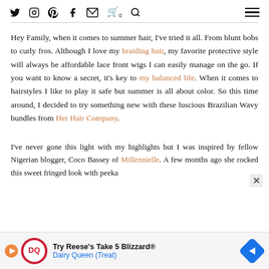Social media icons (Twitter, Instagram, Pinterest, Facebook, Email, Cart, Search) and hamburger menu
Hey Family, when it comes to summer hair, I've tried it all. From blunt bobs to curly fros. Although I love my braiding hair, my favorite protective style will always be affordable lace front wigs I can easily manage on the go. If you want to know a secret, it's key to my balanced life. When it comes to hairstyles I like to play it safe but summer is all about color. So this time around, I decided to try something new with these luscious Brazilian Wavy bundles from Her Hair Company.
I've never gone this light with my highlights but I was inspired by fellow Nigerian blogger, Coco Bassey of Millennielle. A few months ago she rocked this sweet fringed look with peeka
[Figure (other): Dairy Queen advertisement banner: Try Reese's Take 5 Blizzard, Dairy Queen (Treat) with DQ logo and navigation arrow]